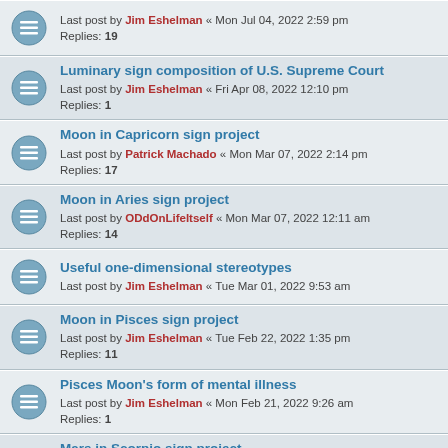Last post by Jim Eshelman « Mon Jul 04, 2022 2:59 pm
Replies: 19
Luminary sign composition of U.S. Supreme Court
Last post by Jim Eshelman « Fri Apr 08, 2022 12:10 pm
Replies: 1
Moon in Capricorn sign project
Last post by Patrick Machado « Mon Mar 07, 2022 2:14 pm
Replies: 17
Moon in Aries sign project
Last post by ODdOnLifeItself « Mon Mar 07, 2022 12:11 am
Replies: 14
Useful one-dimensional stereotypes
Last post by Jim Eshelman « Tue Mar 01, 2022 9:53 am
Moon in Pisces sign project
Last post by Jim Eshelman « Tue Feb 22, 2022 1:35 pm
Replies: 11
Pisces Moon's form of mental illness
Last post by Jim Eshelman « Mon Feb 21, 2022 9:26 am
Replies: 1
Mars in Scorpio sign project
Last post by Jim Eshelman « Sun Feb 20, 2022 1:15 pm
Replies: 33
Mars in Gemini sign project
Last post by Jim Eshelman « Sun Feb 20, 2022 12:50 pm
Replies: 5
Mars in Libra sign project
Last post by Jim Eshelman « Sun Feb 20, 2022 12:20 pm
Replies: 6
Mars in Leo sign project
Last post by Jim Eshelman « Sun Feb 20, 2022 ...